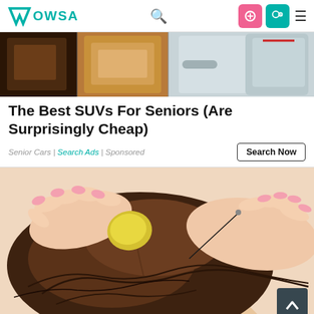Wowsa — navigation bar with logo, search, and menu icons
[Figure (photo): Car interior showing brown leather seat and light-colored door panel]
The Best SUVs For Seniors (Are Surprisingly Cheap)
Senior Cars | Search Ads | Sponsored
Search Now
[Figure (illustration): Cartoon/illustration of hands applying a yellow coin-like object to a woman's dark brown hair bun, with a needle or pin being inserted]